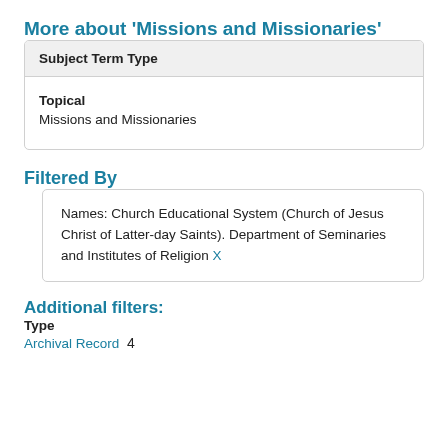More about 'Missions and Missionaries'
| Subject Term Type |
| --- |
| Topical
Missions and Missionaries |
Filtered By
Names: Church Educational System (Church of Jesus Christ of Latter-day Saints). Department of Seminaries and Institutes of Religion X
Additional filters:
Type
Archival Record  4